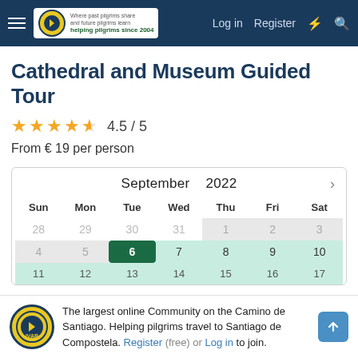Log in  Register
Cathedral and Museum Guided Tour
4.5 / 5
From € 19 per person
[Figure (other): Interactive booking calendar showing September 2022. Days 1-3 shown in gray (weekend/unavailable), days 4-5 in light gray, day 6 selected in dark green, days 7-10 in light green (available), days 11-17 partially visible in light green.]
The largest online Community on the Camino de Santiago. Helping pilgrims travel to Santiago de Compostela. Register (free) or Log in to join.